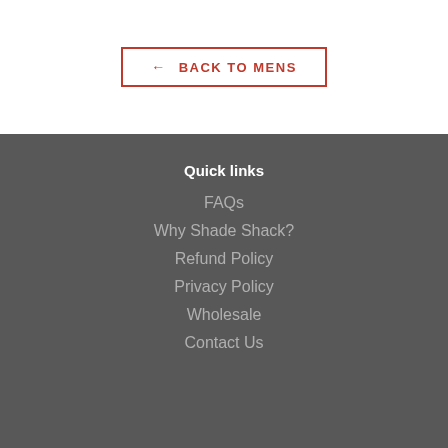← BACK TO MENS
Quick links
FAQs
Why Shade Shack?
Refund Policy
Privacy Policy
Wholesale
Contact Us